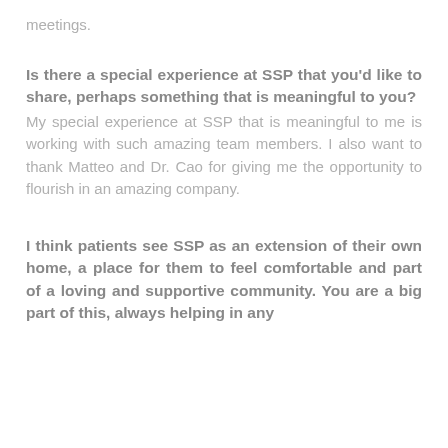meetings.
Is there a special experience at SSP that you'd like to share, perhaps something that is meaningful to you?
My special experience at SSP that is meaningful to me is working with such amazing team members. I also want to thank Matteo and Dr. Cao for giving me the opportunity to flourish in an amazing company.
I think patients see SSP as an extension of their own home, a place for them to feel comfortable and part of a loving and supportive community. You are a big part of this, always helping in any